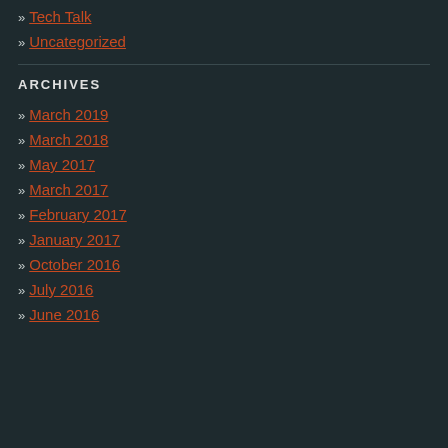» Tech Talk
» Uncategorized
ARCHIVES
» March 2019
» March 2018
» May 2017
» March 2017
» February 2017
» January 2017
» October 2016
» July 2016
» June 2016